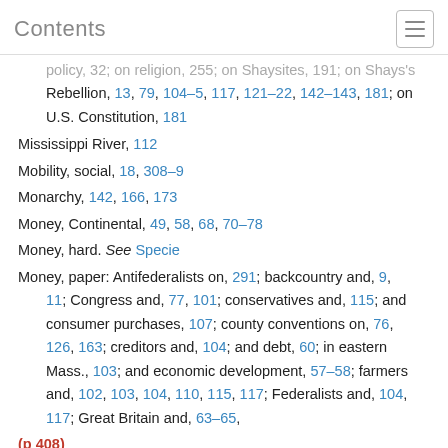Contents
policy, 32; on religion, 255; on Shaysites, 191; on Shays's Rebellion, 13, 79, 104–5, 117, 121–22, 142–143, 181; on U.S. Constitution, 181
Mississippi River, 112
Mobility, social, 18, 308–9
Monarchy, 142, 166, 173
Money, Continental, 49, 58, 68, 70–78
Money, hard. See Specie
Money, paper: Antifederalists on, 291; backcountry and, 9, 11; Congress and, 77, 101; conservatives and, 115; and consumer purchases, 107; county conventions on, 76, 126, 163; creditors and, 104; and debt, 60; in eastern Mass., 103; and economic development, 57–58; farmers and, 102, 103, 104, 110, 115, 117; Federalists and, 104, 117; Great Britain and, 63–65,
(p 408)
270–71; and ideology, 57–59, 63, 68, 78; issues of, 69, 107, 109; laborers and, 62, 70; law on, 60, 62, 66, 67, 68; in Maine, 288, 295; Mass. General Court and, 22, 53, 60, 67,